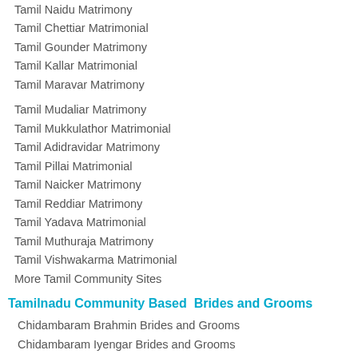Tamil Naidu Matrimony
Tamil Chettiar Matrimonial
Tamil Gounder Matrimony
Tamil Kallar Matrimonial
Tamil Maravar Matrimony
Tamil Mudaliar Matrimony
Tamil Mukkulathor Matrimonial
Tamil Adidravidar Matrimony
Tamil Pillai Matrimonial
Tamil Naicker Matrimony
Tamil Reddiar Matrimony
Tamil Yadava Matrimonial
Tamil Muthuraja Matrimony
Tamil Vishwakarma Matrimonial
More Tamil Community Sites
Tamilnadu Community Based  Brides and Grooms
Chidambaram Brahmin Brides and Grooms
Chidambaram Iyengar Brides and Grooms
Chidambaram Iyer Brides and Grooms